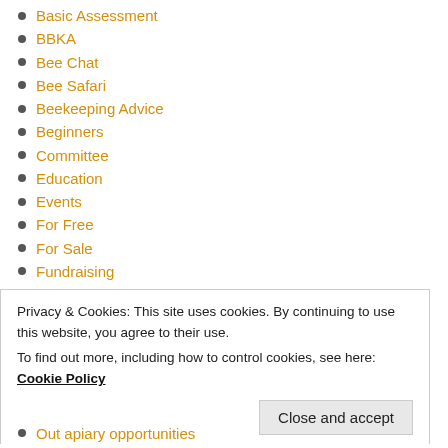Basic Assessment
BBKA
Bee Chat
Bee Safari
Beekeeping Advice
Beginners
Committee
Education
Events
For Free
For Sale
Fundraising
General Certificate in Beekeeping Husbandry
Hilton Green
Honeybee Health Certificate
In the spotlight
June Gap
Member Apiaries
Privacy & Cookies: This site uses cookies. By continuing to use this website, you agree to their use.
To find out more, including how to control cookies, see here: Cookie Policy
Out apiary opportunities